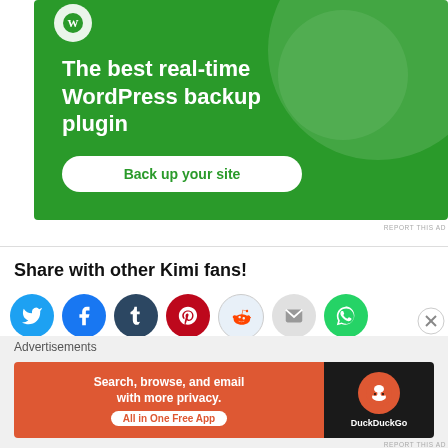[Figure (screenshot): Green advertisement banner for WordPress backup plugin reading 'The best real-time WordPress backup plugin' with a 'Back up your site' button]
REPORT THIS AD
Share with other Kimi fans!
[Figure (infographic): Row of social media share icon circles: Twitter (blue bird), Facebook (blue f), Tumblr (dark blue t), Pinterest (red P), Reddit (light blue alien), Email (grey envelope), WhatsApp (green phone)]
[Figure (screenshot): Bottom advertisement banner: DuckDuckGo ad reading 'Search, browse, and email with more privacy. All in One Free App' with DuckDuckGo logo on dark background]
REPORT THIS AD